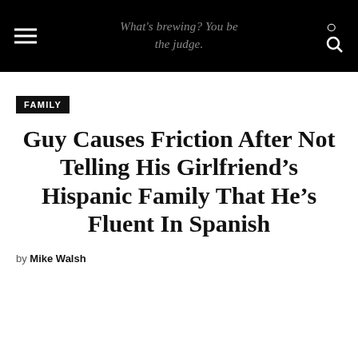What's brewing? You be the judge.
FAMILY
Guy Causes Friction After Not Telling His Girlfriend's Hispanic Family That He's Fluent In Spanish
by Mike Walsh